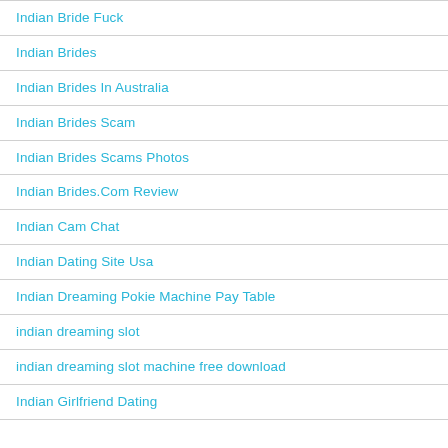Indian Bride Fuck
Indian Brides
Indian Brides In Australia
Indian Brides Scam
Indian Brides Scams Photos
Indian Brides.Com Review
Indian Cam Chat
Indian Dating Site Usa
Indian Dreaming Pokie Machine Pay Table
indian dreaming slot
indian dreaming slot machine free download
Indian Girlfriend Dating